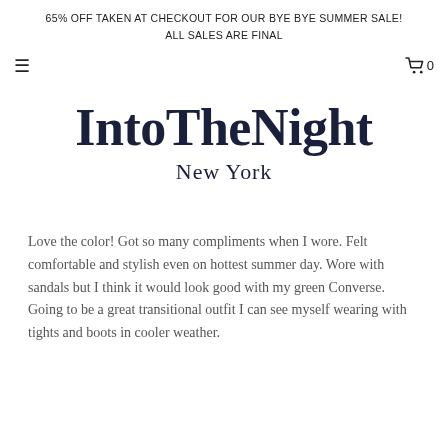65% OFF TAKEN AT CHECKOUT FOR OUR BYE BYE SUMMER SALE!
ALL SALES ARE FINAL
IntoTheNight
New York
Love the color! Got so many compliments when I wore. Felt comfortable and stylish even on hottest summer day. Wore with sandals but I think it would look good with my green Converse. Going to be a great transitional outfit I can see myself wearing with tights and boots in cooler weather.